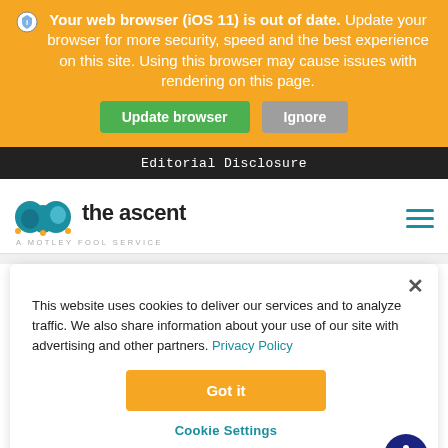Your web browser (iOS 11) is out of date. Update your browser for more security, speed and the best experience on this site. Using this browser may cause issues with rendering on this page.
Update browser | Ignore
Editorial Disclosure
[Figure (logo): The Ascent logo - a Motley Fool service, with blue jester hat icon]
This website uses cookies to deliver our services and to analyze traffic. We also share information about your use of our site with advertising and other partners. Privacy Policy
Got it
Cookie Settings